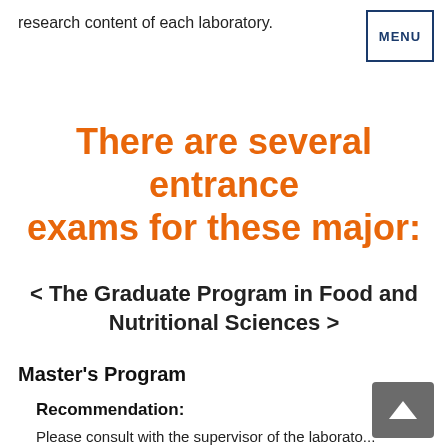research content of each laboratory.
There are several entrance exams for these major:
< The Graduate Program in Food and Nutritional Sciences >
Master's Program
Recommendation:
Please consult with the supervisor of the laboratory...